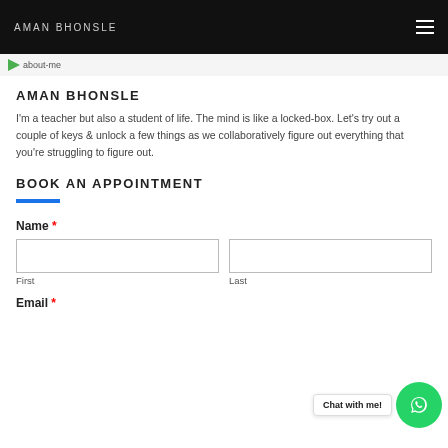AMAN BHONSLE
[Figure (screenshot): About-me breadcrumb strip with green arrow icon]
AMAN BHONSLE
I'm a teacher but also a student of life. The mind is like a locked-box. Let's try out a couple of keys & unlock a few things as we collaboratively figure out everything that you're struggling to figure out.
BOOK AN APPOINTMENT
Name *
First
Last
Email *
[Figure (infographic): WhatsApp chat bubble with 'Chat with me!' label and green WhatsApp circle icon]